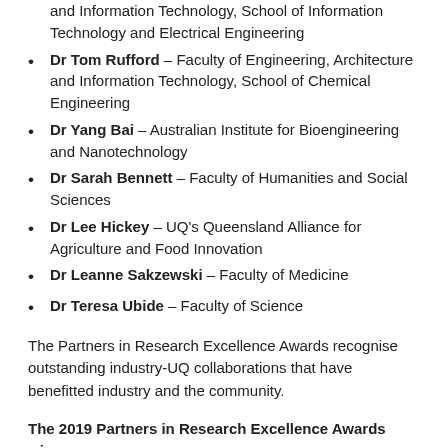and Information Technology, School of Information Technology and Electrical Engineering
Dr Tom Rufford – Faculty of Engineering, Architecture and Information Technology, School of Chemical Engineering
Dr Yang Bai – Australian Institute for Bioengineering and Nanotechnology
Dr Sarah Bennett – Faculty of Humanities and Social Sciences
Dr Lee Hickey – UQ's Queensland Alliance for Agriculture and Food Innovation
Dr Leanne Sakzewski – Faculty of Medicine
Dr Teresa Ubide – Faculty of Science
The Partners in Research Excellence Awards recognise outstanding industry-UQ collaborations that have benefitted industry and the community.
The 2019 Partners in Research Excellence Awards winners are: